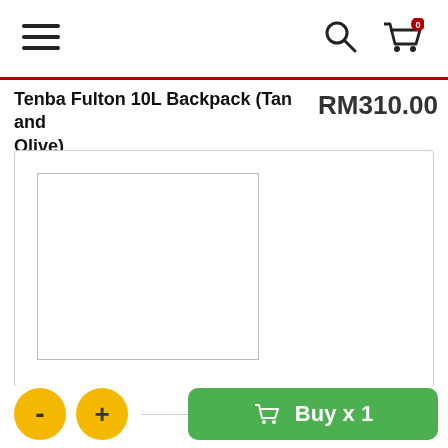Navigation header with hamburger menu, search icon, and cart icon (0 items)
Tenba Fulton 10L Backpack (Tan and Olive)
RM310.00
[Figure (photo): Product image placeholder — white rectangle with thin border showing product image area for Tenba Fulton 10L Backpack]
- + Buy x 1